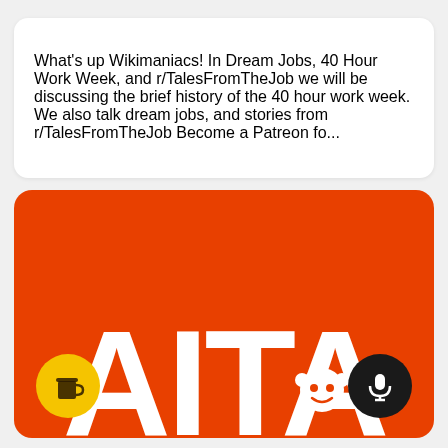What's up Wikimaniacs! In Dream Jobs, 40 Hour Work Week, and r/TalesFromTheJob we will be discussing the brief history of the 40 hour work week. We also talk dream jobs, and stories from r/TalesFromTheJob Become a Patreon fo...
[Figure (illustration): Orange background podcast artwork card showing large white bold letters 'AITA', a yellow circle with coffee cup icon on the bottom left, a Reddit alien mascot in white at the bottom center-right, and a black circle with microphone icon on the bottom right.]